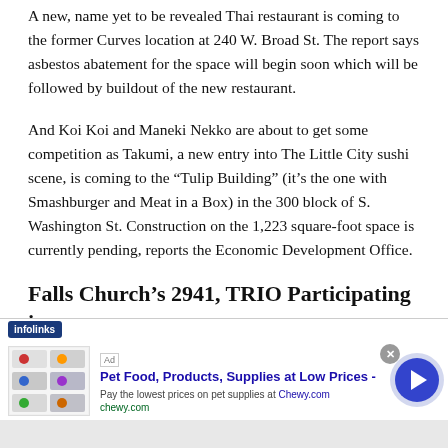A new, name yet to be revealed Thai restaurant is coming to the former Curves location at 240 W. Broad St. The report says asbestos abatement for the space will begin soon which will be followed by buildout of the new restaurant.
And Koi Koi and Maneki Nekko are about to get some competition as Takumi, a new entry into The Little City sushi scene, is coming to the “Tulip Building” (it’s the one with Smashburger and Meat in a Box) in the 300 block of S. Washington St. Construction on the 1,223 square-foot space is currently pending, reports the Economic Development Office.
Falls Church’s 2941, TRIO Participating in
[Figure (other): Infolinks advertisement banner for Chewy.com pet food products with a close button and navigation arrow]